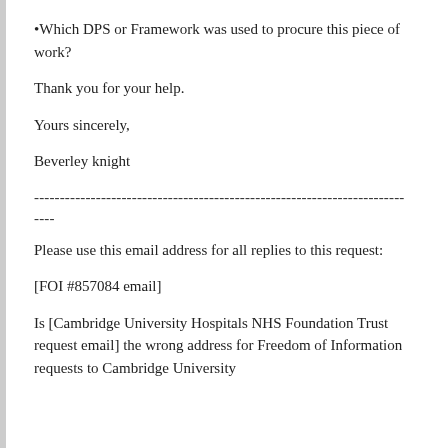•Which DPS or Framework was used to procure this piece of work?
Thank you for your help.
Yours sincerely,
Beverley knight
------------------------------------------------------------------------
----
Please use this email address for all replies to this request:
[FOI #857084 email]
Is [Cambridge University Hospitals NHS Foundation Trust request email] the wrong address for Freedom of Information requests to Cambridge University